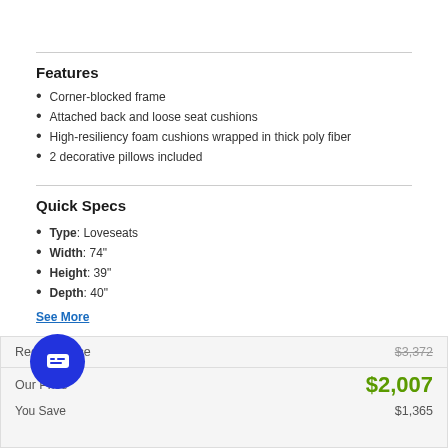Features
Corner-blocked frame
Attached back and loose seat cushions
High-resiliency foam cushions wrapped in thick poly fiber
2 decorative pillows included
Quick Specs
Type: Loveseats
Width: 74"
Height: 39"
Depth: 40"
See More
|  |  |
| --- | --- |
| Regular Price | $3,372 |
| Our Price | $2,007 |
| You Save | $1,365 |